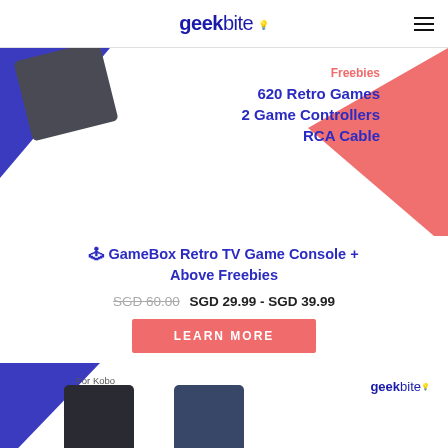geekbite
[Figure (illustration): Banner with blue and pink triangles, device image, freebies list: 620 Retro Games, 2 Game Controllers, RCA Cable]
Freebies
620 Retro Games
2 Game Controllers
RCA Cable
🕹 GameBox Retro TV Game Console + Above Freebies
SGD 60.00  SGD 29.99 - SGD 39.99
LEARN MORE
[Figure (photo): Bottom strip showing two Kobo device cases (dark and navy) with geekbite logo, For Kobo label, blue triangle corner]